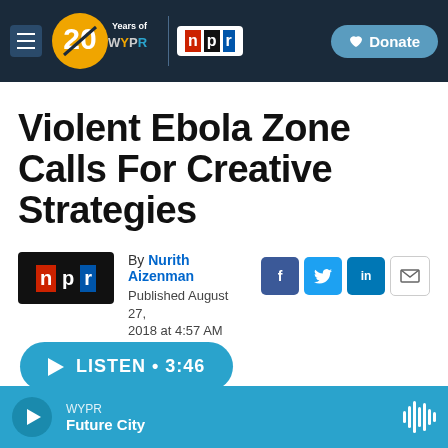[Figure (screenshot): WYPR/NPR navigation bar with hamburger menu, 20 Years of WYPR logo, NPR badge, and Donate button on dark navy background]
Violent Ebola Zone Calls For Creative Strategies
By Nurith Aizenman
Published August 27, 2018 at 4:57 AM EDT
[Figure (logo): NPR logo block in black and red]
LISTEN • 3:46
WYPR
Future City